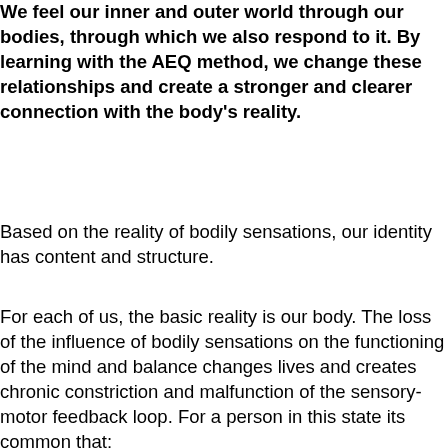We feel our inner and outer world through our bodies, through which we also respond to it. By learning with the AEQ method, we change these relationships and create a stronger and clearer connection with the body's reality.
Based on the reality of bodily sensations, our identity has content and structure.
For each of us, the basic reality is our body. The loss of the influence of bodily sensations on the functioning of the mind and balance changes lives and creates chronic constriction and malfunction of the sensory-motor feedback loop. For a person in this state its common that: